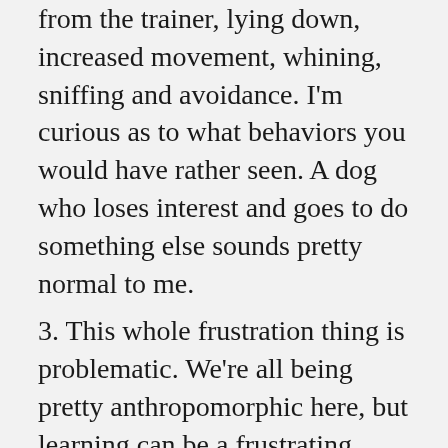from the trainer, lying down, increased movement, whining, sniffing and avoidance. I'm curious as to what behaviors you would have rather seen. A dog who loses interest and goes to do something else sounds pretty normal to me.
3. This whole frustration thing is problematic. We're all being pretty anthropomorphic here, but learning can be a frustrating process, even when one is really enjoying what they're learning. Learning to puzzle out what is going on in a time of frustration is probably a very valuable task as far as learning self-control goes. I question the value of attempting to remove minor frustration